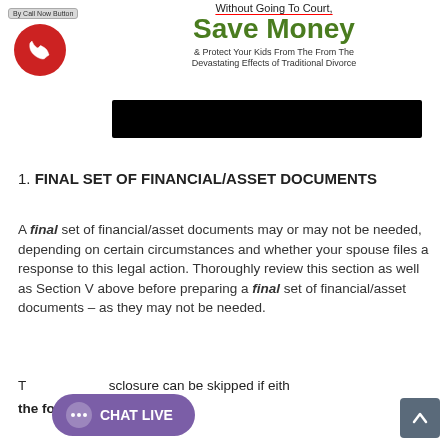Without Going To Court, Save Money & Protect Your Kids From The From The Devastating Effects of Traditional Divorce
[Figure (other): Black redacted bar covering content]
1. FINAL SET OF FINANCIAL/ASSET DOCUMENTS
A final set of financial/asset documents may or may not be needed, depending on certain circumstances and whether your spouse files a response to this legal action. Thoroughly review this section as well as Section V above before preparing a final set of financial/asset documents – as they may not be needed.
The disclosure can be skipped if either of the following exists: